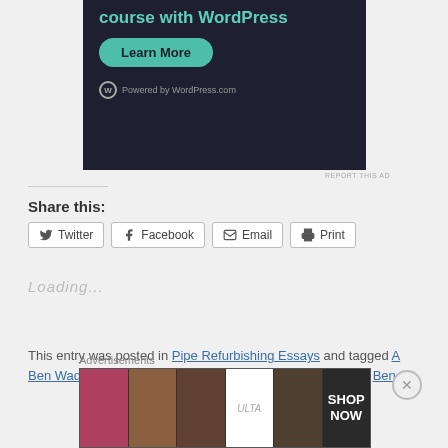[Figure (screenshot): WordPress.com course advertisement banner with teal title text 'course with WordPress', a teal Learn More button, and Powered by WordPress.com text on dark background]
REPORT THIS AD
Share this:
Twitter  Facebook  Email  Print (share buttons)
Loading...
This entry was posted in Pipe Refurbishing Essays and tagged A Ben Wade Martinique with a Twist in the rim and the shank, Ben
[Figure (screenshot): Advertisements strip showing makeup/beauty images with ULTA logo and SHOP NOW text]